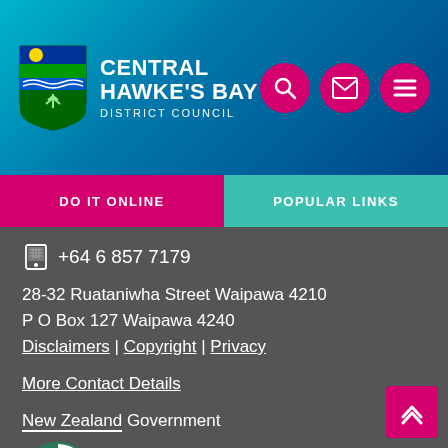[Figure (logo): Central Hawke's Bay District Council logo with shield emblem and council name]
[Figure (illustration): Navigation icons: search (magnifying glass), email (envelope), menu (hamburger) in pink circles]
DO IT ONLINE
POPULAR LINKS
+64 6 857 7179
28-32 Ruataniwha Street Waipawa 4210
P O Box 127 Waipawa 4240
Disclaimers | Copyright | Privacy
More Contact Details
New Zealand Government
[Figure (logo): New Zealand Government logo badge - circular green/white emblem]
[Figure (illustration): Scroll to top button with double up chevron arrows, pink background]